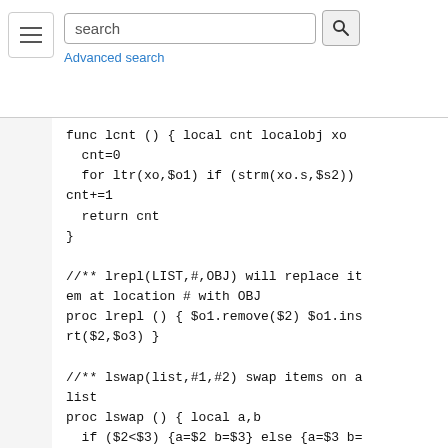search | Advanced search
[Figure (logo): SenseLab logo]
[Figure (logo): MicrocircuitDB logo]
[Figure (logo): ModelDB logo]
func lcnt () { local cnt localobj xo
  cnt=0
  for ltr(xo,$o1) if (strm(xo.s,$s2))
cnt+=1
  return cnt
}

//** lrepl(LIST,#,OBJ) will replace it
em at location # with OBJ
proc lrepl () { $o1.remove($2) $o1.ins
rt($2,$o3) }

//** lswap(list,#1,#2) swap items on a
list
proc lswap () { local a,b
  if ($2<$3) {a=$2 b=$3} else {a=$3 b=
$2}
  $o1.insrt(a,$o1.object(b))
  $o1.remove(b+1)